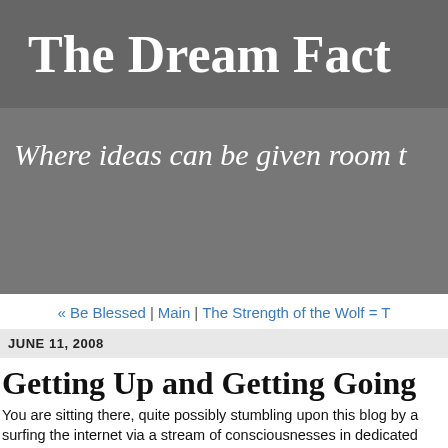The Dream Fact
Where ideas can be given room t
« Be Blessed | Main | The Strength of the Wolf = T
JUNE 11, 2008
Getting Up and Getting Going
You are sitting there, quite possibly stumbling upon this blog by a surfing the internet via a stream of consciousnesses in dedicated